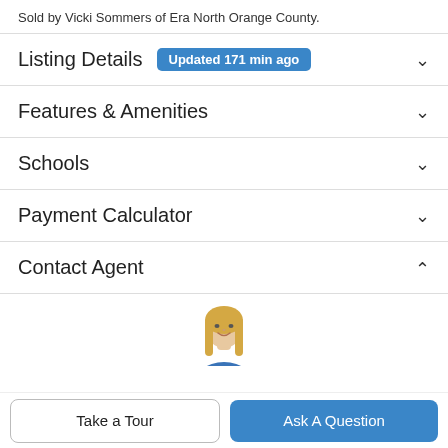Sold by Vicki Sommers of Era North Orange County.
Listing Details Updated 171 min ago
Features & Amenities
Schools
Payment Calculator
Contact Agent
[Figure (photo): Photo of a blonde woman (real estate agent) wearing a blue top, cropped at torso level]
Take a Tour
Ask A Question